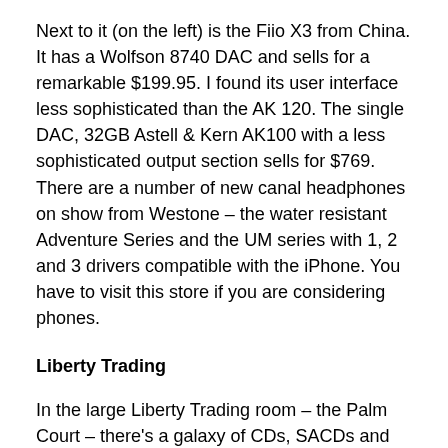Next to it (on the left) is the Fiio X3 from China. It has a Wolfson 8740 DAC and sells for a remarkable $199.95. I found its user interface less sophisticated than the AK 120. The single DAC, 32GB Astell & Kern AK100 with a less sophisticated output section sells for $769. There are a number of new canal headphones on show from Westone – the water resistant Adventure Series and the UM series with 1, 2 and 3 drivers compatible with the iPhone. You have to visit this store if you are considering phones.
Liberty Trading
In the large Liberty Trading room – the Palm Court – there's a galaxy of CDs, SACDs and LPs plus a number of equipment manufacturers. Gutwire Audio Cables' Herbert Wong was on hand to introduce his new high end USBe-1 USB cable -$299 for a 1.2m length, with up to 5m available. One big difference from the rest of the market